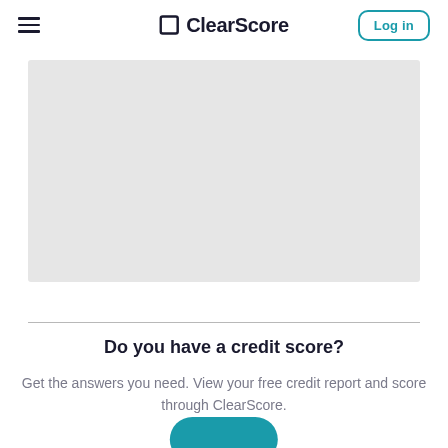ClearScore — Log in
[Figure (photo): Large rectangular image placeholder (light grey) representing a hero banner image on the ClearScore website]
Do you have a credit score?
Get the answers you need. View your free credit report and score through ClearScore.